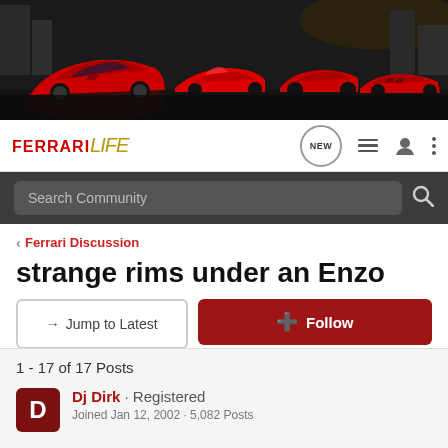[Figure (photo): Banner photo of multiple red Ferrari cars arranged on a dark cobblestone square at night, with city buildings in the background.]
FERRARI life  NEW [icons]  Search Community
< Ferrari Discussion
strange rims under an Enzo
→ Jump to Latest    ⊕ Follow
1 - 17 of 17 Posts
Dj Dirk · Registered
Joined Jan 12, 2002 · 5,082 Posts